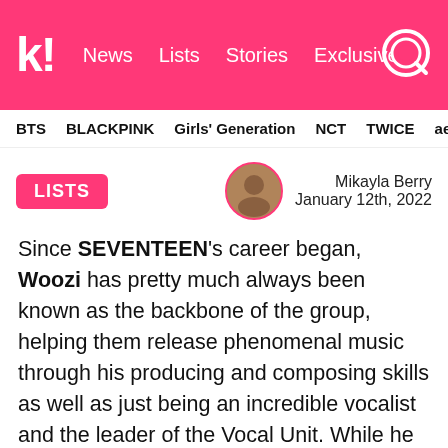kpopstarz — News  Lists  Stories  Exclusives
BTS  BLACKPINK  Girls' Generation  NCT  TWICE  aespa
LISTS
Mikayla Berry
January 12th, 2022
Since SEVENTEEN's career began, Woozi has pretty much always been known as the backbone of the group, helping them release phenomenal music through his producing and composing skills as well as just being an incredible vocalist and the leader of the Vocal Unit. While he might be more well-known for these talents, what many fans of the group could already tell you is that he is also one of the best dancers among the members as well,